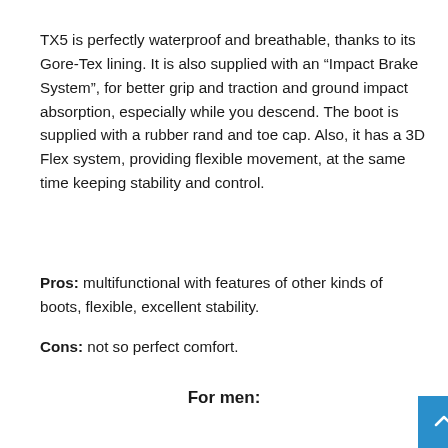TX5 is perfectly waterproof and breathable, thanks to its Gore-Tex lining. It is also supplied with an “Impact Brake System”, for better grip and traction and ground impact absorption, especially while you descend. The boot is supplied with a rubber rand and toe cap. Also, it has a 3D Flex system, providing flexible movement, at the same time keeping stability and control.
Pros: multifunctional with features of other kinds of boots, flexible, excellent stability.
Cons: not so perfect comfort.
For men:
[Figure (other): Green button labeled 'See it on Amazon!' and blue/purple button labeled 'See it on REI!' with a blue scroll-to-top button in the bottom right corner.]